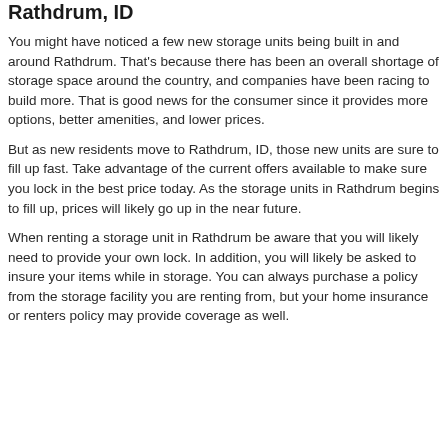Rathdrum, ID
You might have noticed a few new storage units being built in and around Rathdrum. That's because there has been an overall shortage of storage space around the country, and companies have been racing to build more. That is good news for the consumer since it provides more options, better amenities, and lower prices.
But as new residents move to Rathdrum, ID, those new units are sure to fill up fast. Take advantage of the current offers available to make sure you lock in the best price today. As the storage units in Rathdrum begins to fill up, prices will likely go up in the near future.
When renting a storage unit in Rathdrum be aware that you will likely need to provide your own lock. In addition, you will likely be asked to insure your items while in storage. You can always purchase a policy from the storage facility you are renting from, but your home insurance or renters policy may provide coverage as well.